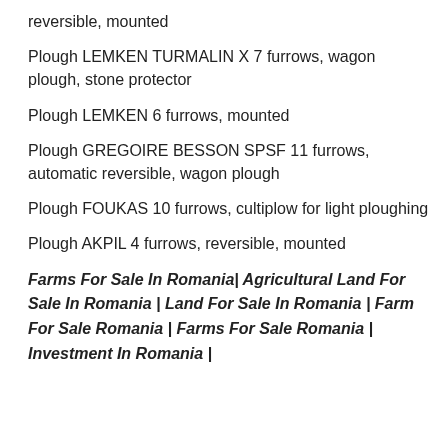reversible, mounted
Plough LEMKEN TURMALIN X 7 furrows, wagon plough, stone protector
Plough LEMKEN 6 furrows, mounted
Plough GREGOIRE BESSON SPSF 11 furrows, automatic reversible, wagon plough
Plough FOUKAS 10 furrows, cultiplow for light ploughing
Plough AKPIL 4 furrows, reversible, mounted
Farms For Sale In Romania| Agricultural Land For Sale In Romania | Land For Sale In Romania | Farm For Sale Romania | Farms For Sale Romania | Investment In Romania |